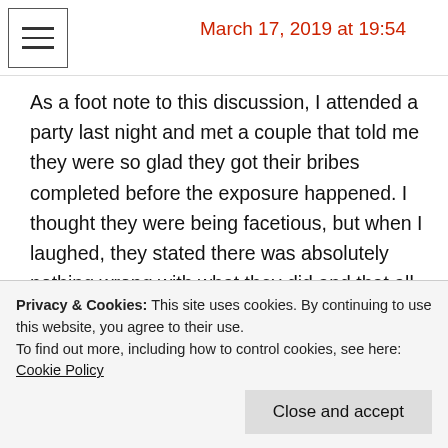March 17, 2019 at 19:54
As a foot note to this discussion, I attended a party last night and met a couple that told me they were so glad they got their bribes completed before the exposure happened. I thought they were being facetious, but when I laughed, they stated there was absolutely nothing wrong with what they did and that all parties were simply fulfilling a need. Understanding they are at the
Privacy & Cookies: This site uses cookies. By continuing to use this website, you agree to their use.
To find out more, including how to control cookies, see here: Cookie Policy
Close and accept